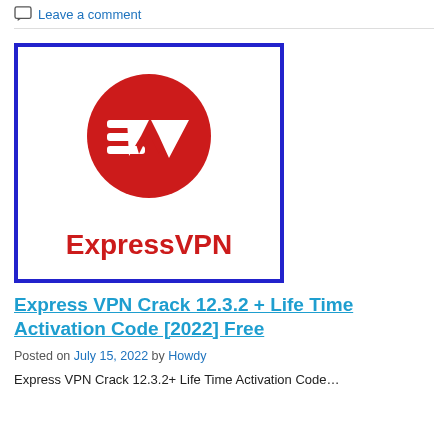Leave a comment
[Figure (logo): ExpressVPN logo: red circle with stylized EV icon, text 'ExpressVPN' in red, inside a blue-bordered white square]
Express VPN Crack 12.3.2 + Life Time Activation Code [2022] Free
Posted on July 15, 2022 by Howdy
Express VPN Crack 12.3.2+ Life Time Activation Code...